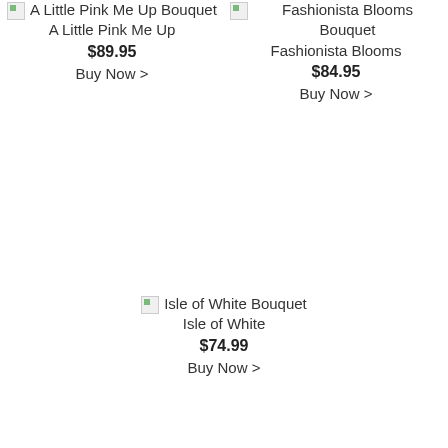[Figure (photo): Broken image icon for A Little Pink Me Up Bouquet]
A Little Pink Me Up Bouquet
A Little Pink Me Up
$89.95
Buy Now >
[Figure (photo): Broken image icon for Fashionista Blooms Bouquet]
Fashionista Blooms Bouquet
Fashionista Blooms
$84.95
Buy Now >
[Figure (photo): Broken image icon for Isle of White Bouquet]
Isle of White Bouquet
Isle of White
$74.99
Buy Now >